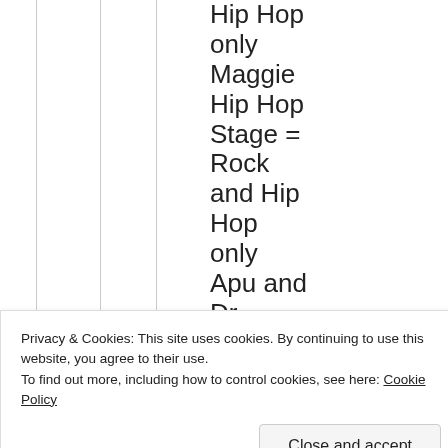Hip Hop only
Maggie
Hip Hop
Stage = Rock and Hip Hop only
Apu and Dr. Hibbert, Pop and Hip Hop
Privacy & Cookies: This site uses cookies. By continuing to use this website, you agree to their use.
To find out more, including how to control cookies, see here: Cookie Policy
Close and accept